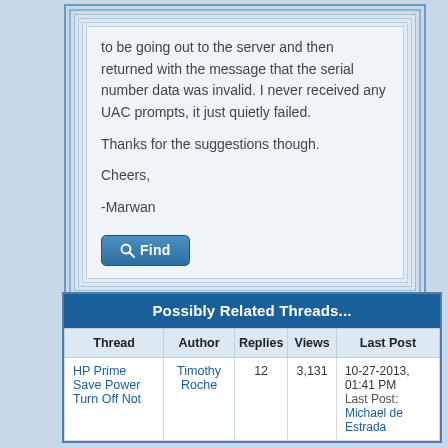to be going out to the server and then returned with the message that the serial number data was invalid. I never received any UAC prompts, it just quietly failed.

Thanks for the suggestions though.

Cheers,

-Marwan
Find
| Thread | Author | Replies | Views | Last Post |
| --- | --- | --- | --- | --- |
| HP Prime Save Power Turn Off Not | Timothy Roche | 12 | 3,131 | 10-27-2013, 01:41 PM
Last Post: Michael de Estrada |